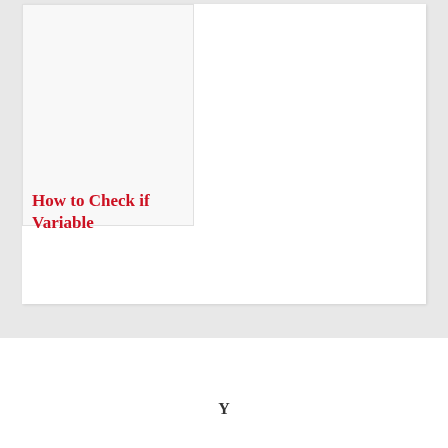[Figure (screenshot): Thumbnail image placeholder area, white/light gray box]
How to Check if Variable
Y